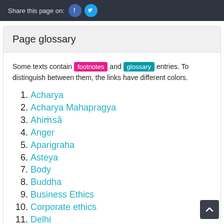Share this page on: [facebook] [twitter]
Page glossary
Some texts contain footnotes and glossary entries. To distinguish between them, the links have different colors.
Acharya
Acharya Mahapragya
Ahiṁsā
Anger
Aparigraha
Asteya
Body
Buddha
Business Ethics
Corporate ethics
Delhi
Dharma